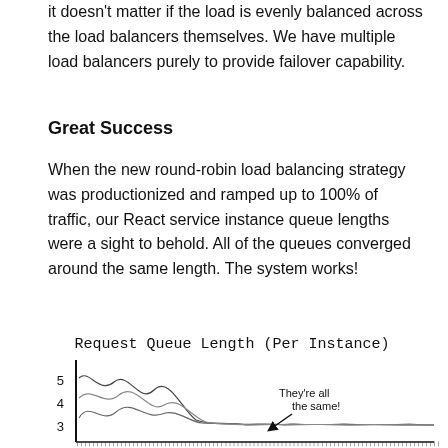it doesn't matter if the load is evenly balanced across the load balancers themselves. We have multiple load balancers purely to provide failover capability.
Great Success
When the new round-robin load balancing strategy was productionized and ramped up to 100% of traffic, our React service instance queue lengths were a sight to behold. All of the queues converged around the same length. The system works!
[Figure (continuous-plot): Hand-drawn line chart showing request queue length per instance, with y-axis labeled 3, 4, 5. Lines converge to same level. Annotation reads 'They're all the same!' with arrow pointing down.]